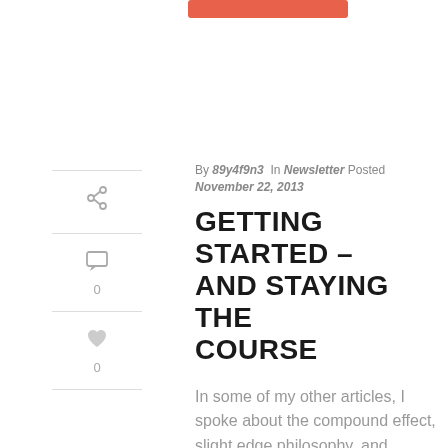By 89y4f9n3 In Newsletter Posted November 22, 2013
GETTING STARTED – AND STAYING THE COURSE
In some of my other articles, I spoke about the compound effect, slight edge philosophy, and mastery.   If massive success can be as simple as harnessing the power of incremental daily [...]
READ MORE